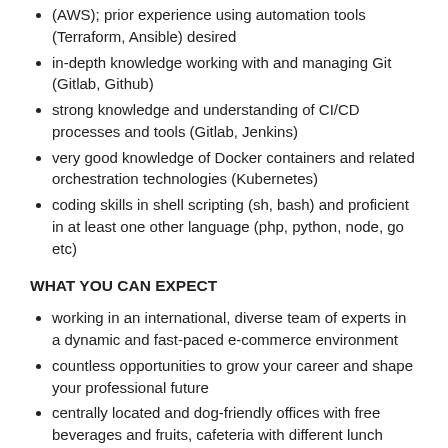(AWS); prior experience using automation tools (Terraform, Ansible) desired
in-depth knowledge working with and managing Git (Gitlab, Github)
strong knowledge and understanding of CI/CD processes and tools (Gitlab, Jenkins)
very good knowledge of Docker containers and related orchestration technologies (Kubernetes)
coding skills in shell scripting (sh, bash) and proficient in at least one other language (php, python, node, go etc)
WHAT YOU CAN EXPECT
working in an international, diverse team of experts in a dynamic and fast-paced e-commerce environment
countless opportunities to grow your career and shape your professional future
centrally located and dog-friendly offices with free beverages and fruits, cafeteria with different lunch options, diverse sports and health offerings and ...